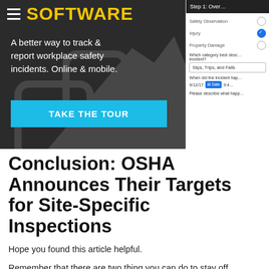[Figure (screenshot): Software advertisement banner: dark background with hamburger menu icon, yellow 'SOFTWARE' title, white tagline 'A better way to track & report workplace safety incidents. Online & mobile.', cyan 'TAKE THE TOUR' button. Right side shows a mobile form screenshot with Step 1 overview, radio buttons for Safety Observation, Injury (checked), Property Damage; category dropdown 'Slips, Trips, and Falls'; date field '9/12/17' with Date button.]
Conclusion: OSHA Announces Their Targets for Site-Specific Inspections
Hope you found this article helpful.
Remember that there are two thing you can do to stay off OSHA's targeted site-specific inspection